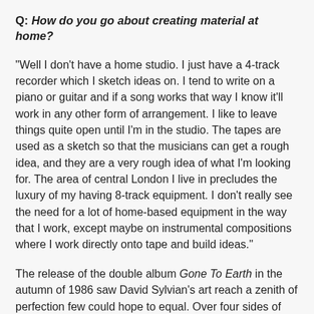Q: How do you go about creating material at home?
"Well I don't have a home studio. I just have a 4-track recorder which I sketch ideas on. I tend to write on a piano or guitar and if a song works that way I know it'll work in any other form of arrangement. I like to leave things quite open until I'm in the studio. The tapes are used as a sketch so that the musicians can get a rough idea, and they are a very rough idea of what I'm looking for. The area of central London I live in precludes the luxury of my having 8-track equipment. I don't really see the need for a lot of home-based equipment in the way that I work, except maybe on instrumental compositions where I work directly onto tape and build ideas."
The release of the double album Gone To Earth in the autumn of 1986 saw David Sylvian's art reach a zenith of perfection few could hope to equal. Over four sides of vinyl he managed to encompass an eclectic variety of musical styles which never vary in their superb quality. With Steve Jansen, Ian Maidman, Robert